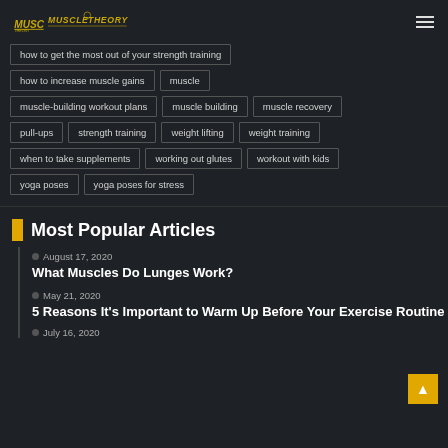MUSCLE THEORY
how to get the most out of your strength training
how to increase muscle gains
muscle
muscle-building workout plans
muscle building
muscle recovery
pull-ups
strength training
weight lifting
weight training
when to take supplements
working out glutes
workout with kids
yoga poses
yoga poses for stress
Most Popular Articles
August 17, 2020
What Muscles Do Lunges Work?
May 21, 2020
5 Reasons It's Important to Warm Up Before Your Exercise Routine
July 16, 2020